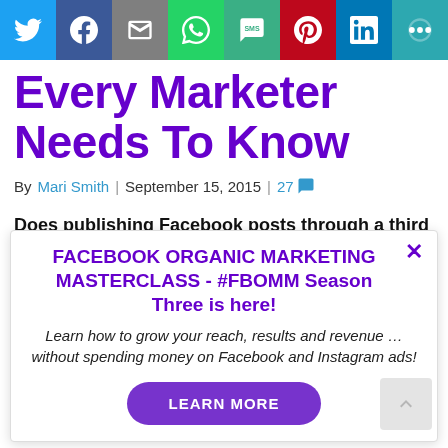[Figure (infographic): Social media sharing buttons bar: Twitter (blue), Facebook (dark blue), Email (gray), WhatsApp (green), SMS (green), Pinterest (red), LinkedIn (blue), More (teal)]
Every Marketer Needs To Know
By Mari Smith | September 15, 2015 | 27 comments
Does publishing Facebook posts through a third party tool affect your reach and engagement?
FACEBOOK ORGANIC MARKETING MASTERCLASS - #FBOMM Season Three is here!
Learn how to grow your reach, results and revenue … without spending money on Facebook and Instagram ads!
LEARN MORE